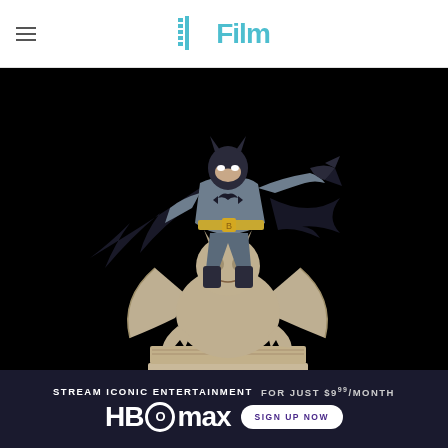/Film
[Figure (photo): Batman collectible statue figure posed dramatically atop a gargoyle stone pedestal with 'Arkham' inscription, set against a black background. Batman wears grey and black costume with flowing cape, leaning forward in action pose holding a weapon.]
[Figure (screenshot): HBO Max advertisement banner: 'STREAM ICONIC ENTERTAINMENT FOR JUST $9.99/MONTH' with HBO Max logo and 'SIGN UP NOW' button on dark navy background.]